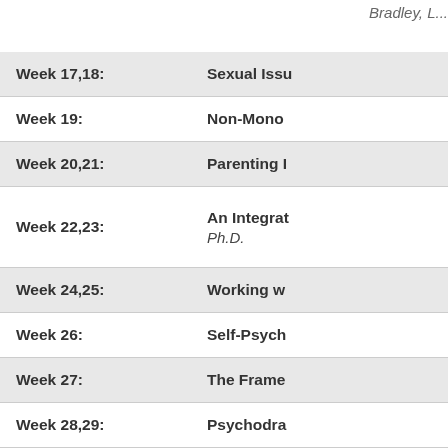Bradley, L...
| Week | Topic |
| --- | --- |
| Week 17,18: | Sexual Issu... |
| Week 19: | Non-Mono... |
| Week 20,21: | Parenting I... |
| Week 22,23: | An Integrat...
Ph.D. |
| Week 24,25: | Working w... |
| Week 26: | Self-Psych... |
| Week 27: | The Frame... |
| Week 28,29: | Psychodra... |
| Week 30,31: | Psychopha... |
| Week 32,33: | Internal Fa... |
| Week 34,35: | Mindful... |